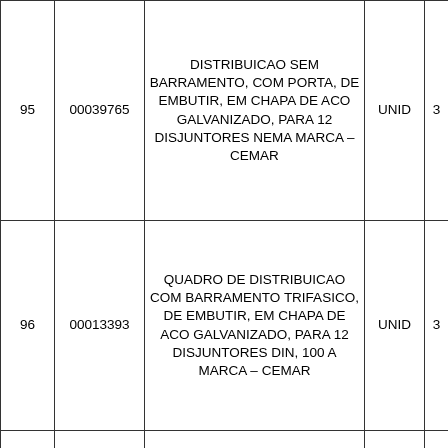| 95 | 00039765 | DISTRIBUICAO SEM BARRAMENTO, COM PORTA, DE EMBUTIR, EM CHAPA DE ACO GALVANIZADO, PARA 12 DISJUNTORES NEMA MARCA – CEMAR | UNID | 3 |
| 96 | 00013393 | QUADRO DE DISTRIBUICAO COM BARRAMENTO TRIFASICO, DE EMBUTIR, EM CHAPA DE ACO GALVANIZADO, PARA 12 DISJUNTORES DIN, 100 A MARCA – CEMAR | UNID | 3 |
|  |  | QUADRO DE DISTRIBUICAO COM BARRAMENTO TRIFASICO, |  |  |